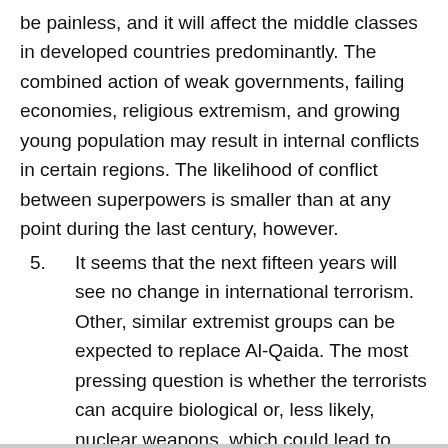be painless, and it will affect the middle classes in developed countries predominantly. The combined action of weak governments, failing economies, religious extremism, and growing young population may result in internal conflicts in certain regions. The likelihood of conflict between superpowers is smaller than at any point during the last century, however.
5. It seems that the next fifteen years will see no change in international terrorism. Other, similar extremist groups can be expected to replace Al-Qaida. The most pressing question is whether the terrorists can acquire biological or, less likely, nuclear weapons, which could lead to massive death tolls. Four trends of possible futures are then based on these trends.